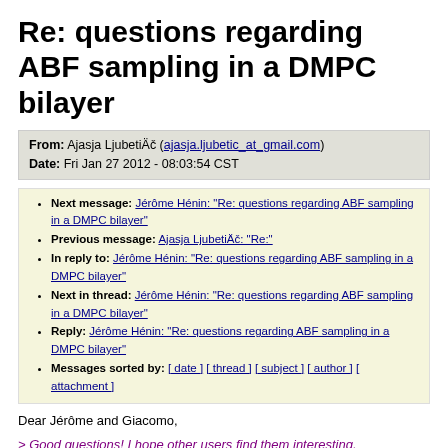Re: questions regarding ABF sampling in a DMPC bilayer
| From: | Ajasja LjubetiÄč (ajasja.ljubetic_at_gmail.com) |
| Date: | Fri Jan 27 2012 - 08:03:54 CST |
Next message: Jérôme Hénin: "Re: questions regarding ABF sampling in a DMPC bilayer"
Previous message: Ajasja LjubetiÄč: "Re:"
In reply to: Jérôme Hénin: "Re: questions regarding ABF sampling in a DMPC bilayer"
Next in thread: Jérôme Hénin: "Re: questions regarding ABF sampling in a DMPC bilayer"
Reply: Jérôme Hénin: "Re: questions regarding ABF sampling in a DMPC bilayer"
Messages sorted by: [ date ] [ thread ] [ subject ] [ author ] [ attachment ]
Dear Jérôme and Giacomo,
> Good questions! I hope other users find them interesting.